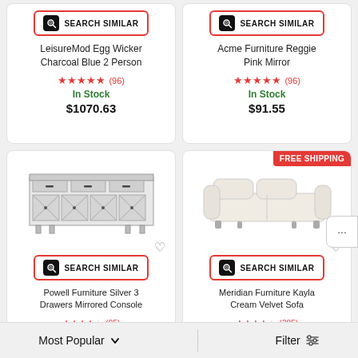[Figure (screenshot): Search Similar button for top-left product]
LeisureMod Egg Wicker Charcoal Blue 2 Person
★★★★★ (96) In Stock $1070.63
[Figure (screenshot): Search Similar button for top-right product]
Acme Furniture Reggie Pink Mirror
★★★★★ (96) In Stock $91.55
[Figure (photo): Powell Furniture Silver 3 Drawers Mirrored Console - mirrored cabinet with 3 drawers and 4 doors]
[Figure (screenshot): Search Similar button for Powell console]
Powell Furniture Silver 3 Drawers Mirrored Console
[Figure (photo): Meridian Furniture Kayla Cream Velvet Sofa - cream colored sofa]
[Figure (screenshot): Search Similar button for Meridian sofa]
FREE SHIPPING
Meridian Furniture Kayla Cream Velvet Sofa
★★★★★ (95+) partial stars
★★★★★ (285+) partial stars
Most Popular
Filter